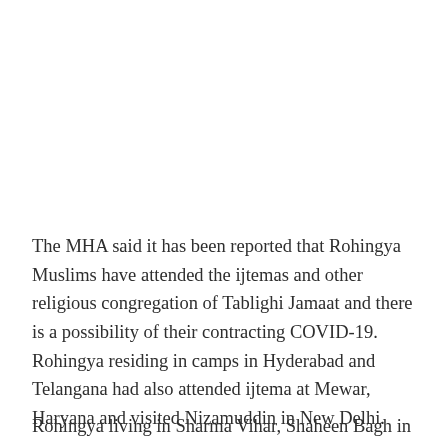The MHA said it has been reported that Rohingya Muslims have attended the ijtemas and other religious congregation of Tablighi Jamaat and there is a possibility of their contracting COVID-19. Rohingya residing in camps in Hyderabad and Telangana had also attended ijtema at Mewar, Haryana and visited Nizamuddin in New Delhi.
Rohingya living in Sharma Vihar, Shaheen Bagh in Delhi,